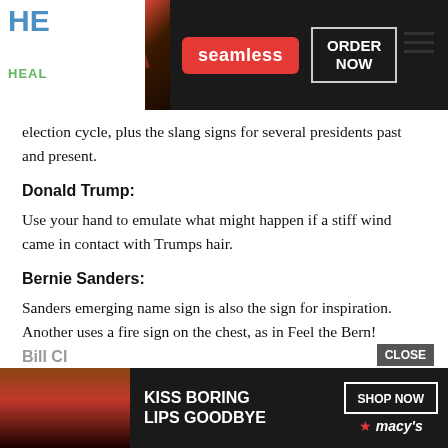[Figure (screenshot): Top advertisement banner for Seamless food delivery, showing pizza slices on dark background, red Seamless logo, and 'ORDER NOW' button in white bordered box]
[Figure (screenshot): Partial site logo showing 'HE' in blue and 'HEAL' in green, partially obscured by ad]
election cycle, plus the slang signs for several presidents past and present.
Donald Trump:
Use your hand to emulate what might happen if a stiff wind came in contact with Trumps hair.
Bernie Sanders:
Sanders emerging name sign is also the sign for inspiration. Another uses a fire sign on the chest, as in Feel the Bern!
Bill Cl
[Figure (screenshot): Bottom advertisement banner for Macy's showing woman's face with red lipstick, 'KISS BORING LIPS GOODBYE' text, 'SHOP NOW' button, and Macy's star logo]